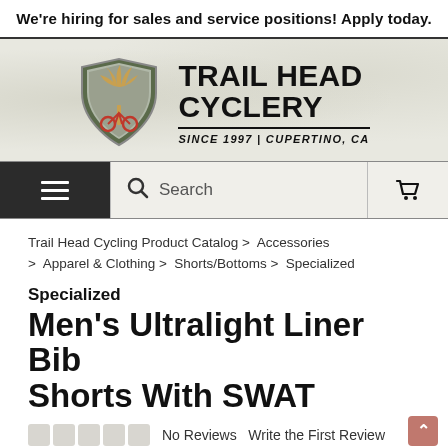We’re hiring for sales and service positions! Apply today.
[Figure (logo): Trail Head Cyclery logo: shield with tree and bicycle, text TRAIL HEAD CYCLERY SINCE 1997 | CUPERTINO, CA]
Search
Trail Head Cycling Product Catalog > Accessories > Apparel & Clothing > Shorts/Bottoms > Specialized
Specialized
Men's Ultralight Liner Bib Shorts With SWAT
No Reviews   Write the First Review